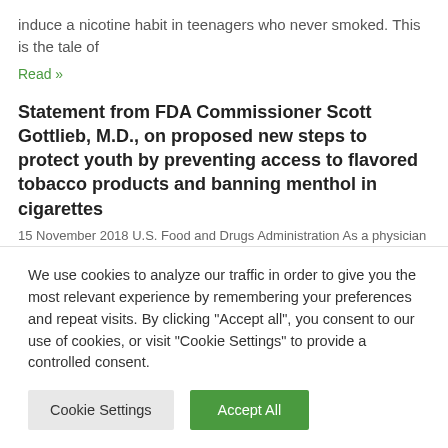induce a nicotine habit in teenagers who never smoked. This is the tale of
Read »
Statement from FDA Commissioner Scott Gottlieb, M.D., on proposed new steps to protect youth by preventing access to flavored tobacco products and banning menthol in cigarettes
15 November 2018 U.S. Food and Drugs Administration As a physician who cared for hospitalized cancer patients, I saw first-hand
We use cookies to analyze our traffic in order to give you the most relevant experience by remembering your preferences and repeat visits. By clicking "Accept all", you consent to our use of cookies, or visit "Cookie Settings" to provide a controlled consent.
Cookie Settings | Accept All